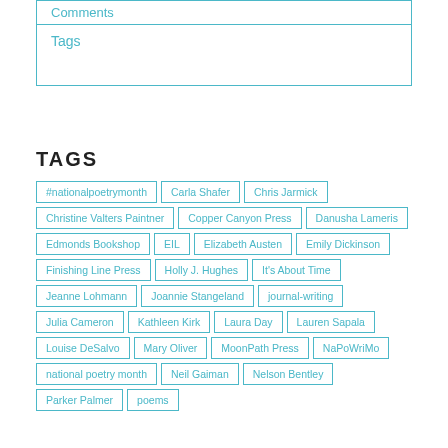Comments
Tags
TAGS
#nationalpoetrymonth
Carla Shafer
Chris Jarmick
Christine Valters Paintner
Copper Canyon Press
Danusha Lameris
Edmonds Bookshop
EIL
Elizabeth Austen
Emily Dickinson
Finishing Line Press
Holly J. Hughes
It's About Time
Jeanne Lohmann
Joannie Stangeland
journal-writing
Julia Cameron
Kathleen Kirk
Laura Day
Lauren Sapala
Louise DeSalvo
Mary Oliver
MoonPath Press
NaPoWriMo
national poetry month
Neil Gaiman
Nelson Bentley
Parker Palmer
poems